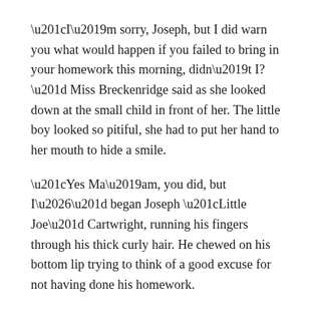“I’m sorry, Joseph, but I did warn you what would happen if you failed to bring in your homework this morning, didn’t I?” Miss Breckenridge said as she looked down at the small child in front of her. The little boy looked so pitiful, she had to put her hand to her mouth to hide a smile.
“Yes Ma’am, you did, but I…” began Joseph “Little Joe” Cartwright, running his fingers through his thick curly hair. He chewed on his bottom lip trying to think of a good excuse for not having done his homework.
“No “buts” about it Joseph. Now, I’ve already told your brother Adam to come for you an hour after school lets out. By then, you should have finished all your work – that is, if you get started right away.”